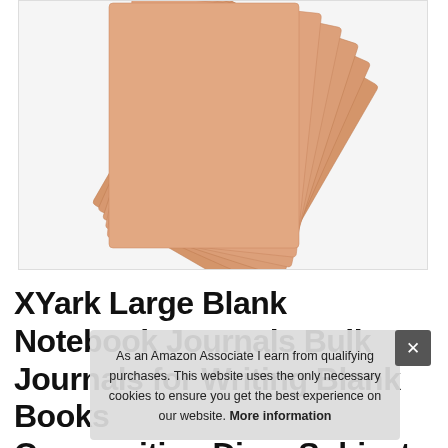[Figure (photo): Multiple kraft brown plain composition notebooks fanned out, showing covers stacked at angles against a light background]
XYark Large Blank Notebook Journals Bulk Large Journals for Writing Blank Books Composition Diary Subject Notebooks
As an Amazon Associate I earn from qualifying purchases. This website uses the only necessary cookies to ensure you get the best experience on our website. More information